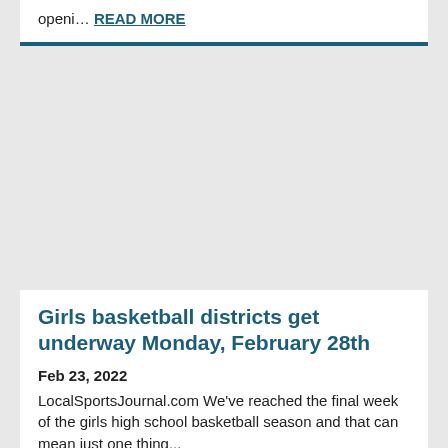openi… READ MORE
Girls basketball districts get underway Monday, February 28th
Feb 23, 2022
LocalSportsJournal.com We've reached the final week of the girls high school basketball season and that can mean just one thing...